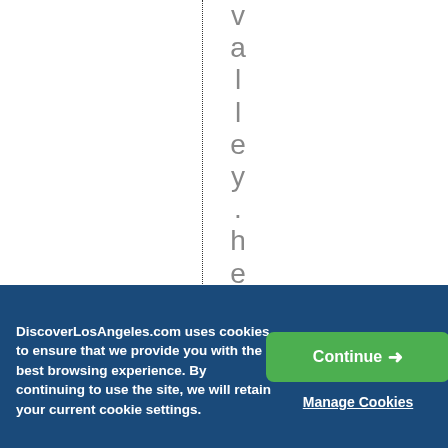[Figure (screenshot): White background with a vertical dotted line and vertically arranged characters spelling 'valley.heareten' reading top to bottom, in gray color, large font size.]
DiscoverLosAngeles.com uses cookies to ensure that we provide you with the best browsing experience. By continuing to use the site, we will retain your current cookie settings.
Continue →
Manage Cookies